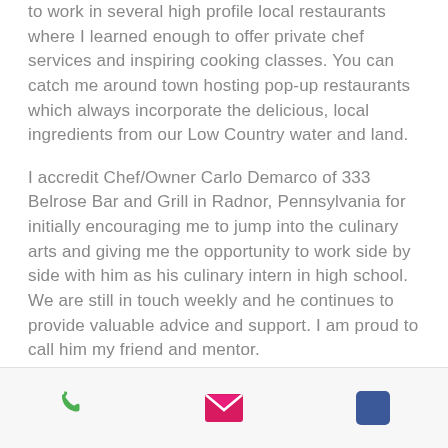to work in several high profile local restaurants where I learned enough to offer private chef services and inspiring cooking classes. You can catch me around town hosting pop-up restaurants which always incorporate the delicious, local ingredients from our Low Country water and land.
I accredit Chef/Owner Carlo Demarco of 333 Belrose Bar and Grill in Radnor, Pennsylvania for initially encouraging me to jump into the culinary arts and giving me the opportunity to work side by side with him as his culinary intern in high school. We are still in touch weekly and he continues to provide valuable advice and support. I am proud to call him my friend and mentor.
[Figure (other): Mobile app bottom navigation bar with three icons: phone (green), email envelope (pink/red), and Facebook logo (blue)]